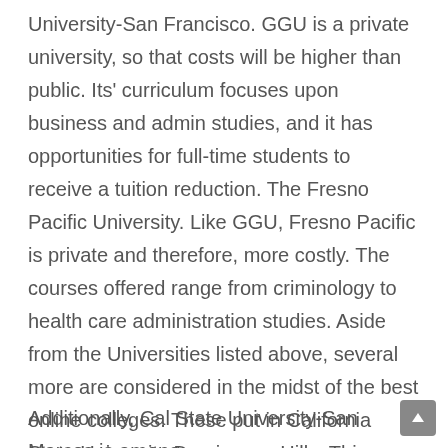University-San Francisco. GGU is a private university, so that costs will be higher than public. Its' curriculum focuses upon business and admin studies, and it has opportunities for full-time students to receive a tuition reduction. The Fresno Pacific University. Like GGU, Fresno Pacific is private and therefore, more costly. The courses offered range from criminology to health care administration studies. Aside from the Universities listed above, several more are considered in the midst of the best online colleges. These put in California State University Dominguez Hills. This online scholarly allows students to accept open enrollment classes, meaning they craving not apply to the college. This educational provides extra services for the minority population.
Additionally, Cal State University-San Marcos is among